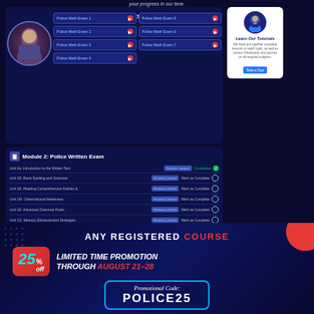[Figure (screenshot): Screenshot of a police exam prep website showing 'Police Math Tests' section with exam buttons (Police Math Exam 1 through 7), a student photo, and Module 2: Police Written Exam with multiple units listed with Access Lesson buttons and completion status. A sidebar shows 'Learn Our Tutorials' section.]
ANY REGISTERED COURSE
25% off LIMITED TIME PROMOTION THROUGH AUGUST 21-28
Promotional Code: POLICE25